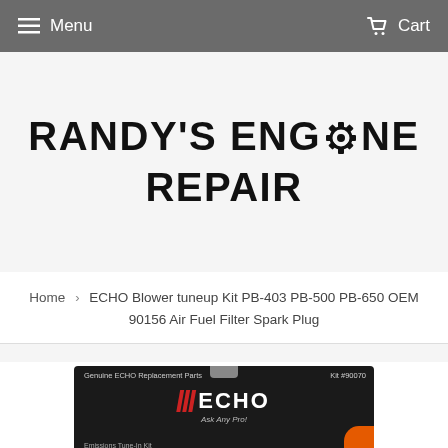Menu   Cart
RANDY'S ENGINE REPAIR
Home › ECHO Blower tuneup Kit PB-403 PB-500 PB-650 OEM 90156 Air Fuel Filter Spark Plug
[Figure (photo): Photo of ECHO Genuine Replacement Parts blower tune-up kit packaging (Kit #90070), showing the ECHO logo and text 'Ask Any Pro!' and 'Emissions Tune-In Kit']